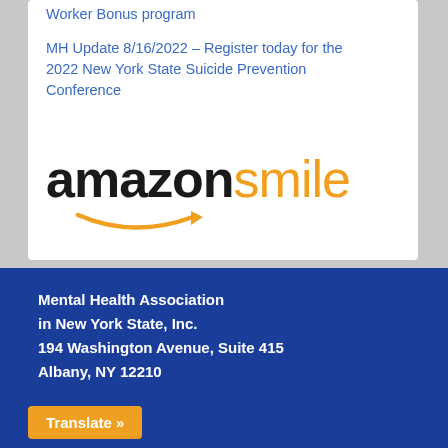Worker Bonus program
MH Update 8/16/2022 – Register today for the 2022 New York State Suicide Prevention Conference
[Figure (logo): Amazon Smile logo with 'amazon' in black bold text and 'smile' in orange, with orange swoosh arrow underneath]
Mental Health Association in New York State, Inc.
194 Washington Avenue, Suite 415
Albany, NY 12210
Translate »